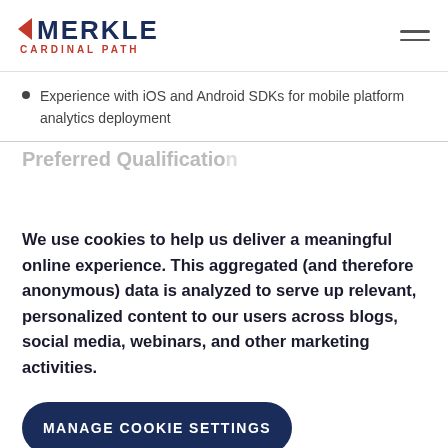MERKLE CARDINAL PATH
Experience with iOS and Android SDKs for mobile platform analytics deployment
Preferred Qualificatio...
We use cookies to help us deliver a meaningful online experience. This aggregated (and therefore anonymous) data is analyzed to serve up relevant, personalized content to our users across blogs, social media, webinars, and other marketing activities.
MANAGE COOKIE SETTINGS
ACCEPT COOKIES